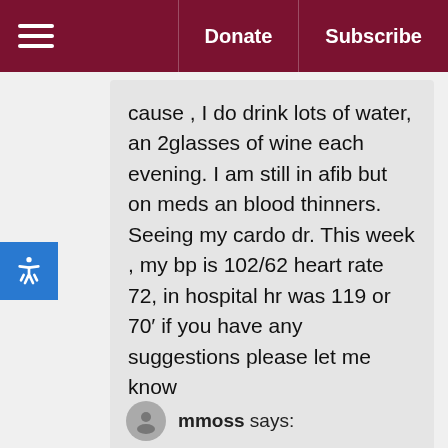≡  Donate  Subscribe
cause , I do drink lots of water, an 2glasses of wine each evening. I am still in afib but on meds an blood thinners. Seeing my cardo dr. This week , my bp is 102/62 heart rate 72, in hospital hr was 119 or 70' if you have any suggestions please let me know
God Bless
Reply
mmoss says: